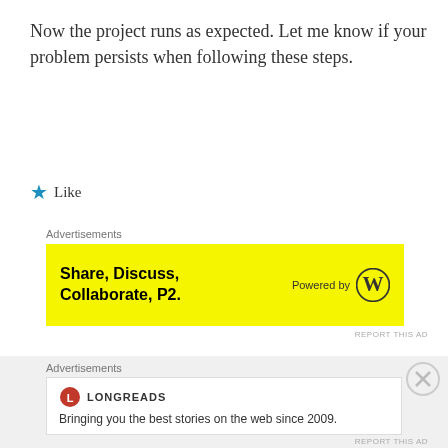Now the project runs as expected. Let me know if your problem persists when following these steps.
★ Like
Advertisements
[Figure (infographic): Yellow advertisement banner: 'Share, Discuss, Collaborate, P2.' Powered by WordPress logo]
REPORT THIS AD
[Figure (logo): Avatar icon for box4ybl - geometric pattern in blue outline]
box4ybl
October 27, 2018 at 5:46 am
Hi,
Advertisements
[Figure (infographic): Longreads advertisement: logo and text 'Bringing you the best stories on the web since 2009.']
REPORT THIS AD